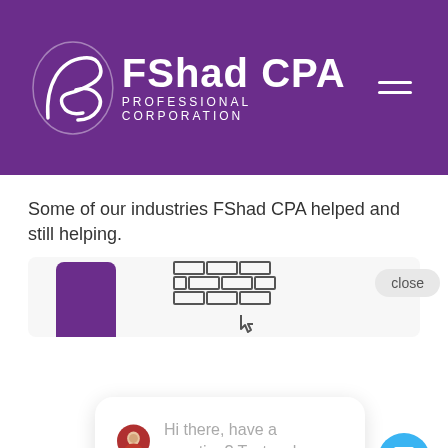[Figure (logo): FShad CPA Professional Corporation logo with stylized FS monogram in white on purple background]
Some of our industries FShad CPA helped and still helping.
[Figure (illustration): Brick wall icon (construction/real estate industry icon) on light grey card background]
[Figure (screenshot): Chat widget popup showing avatar of a woman and message: Hi there, have a question? Text us here. With a close button and blue chat bubble button.]
[Figure (illustration): Building/office tower icon on light grey card background]